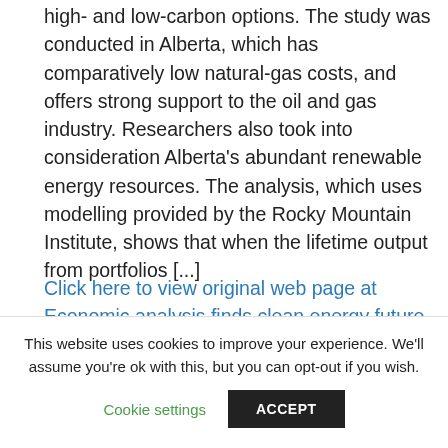high- and low-carbon options. The study was conducted in Alberta, which has comparatively low natural-gas costs, and offers strong support to the oil and gas industry. Researchers also took into consideration Alberta's abundant renewable energy resources. The analysis, which uses modelling provided by the Rocky Mountain Institute, shows that when the lifetime output from portfolios [...]
Click here to view original web page at Economic analysis finds clean energy future is cheaper than gas: Pembina Institute
TAGS  carbon  renewable  solar energy  solarpower
This website uses cookies to improve your experience. We'll assume you're ok with this, but you can opt-out if you wish.
Cookie settings  ACCEPT